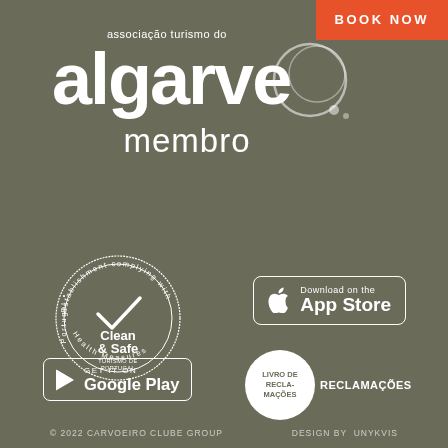[Figure (logo): Associação Turismo do Algarve membro logo with circular ring decoration on dark olive background]
BOOK NOW
[Figure (logo): Clean & Safe Portugal - Establishment complying with Health Measures badge, circular stamp with checkmark]
[Figure (logo): Download on the App Store button]
[Figure (logo): GET IT ON Google Play button]
[Figure (logo): Livro de Reclamações logo - white circle with text and RECLAMAÇÕES text]
© 2022 CARVOEIRO CLUBE GROUP        DESIGN BY  UNYKVIS